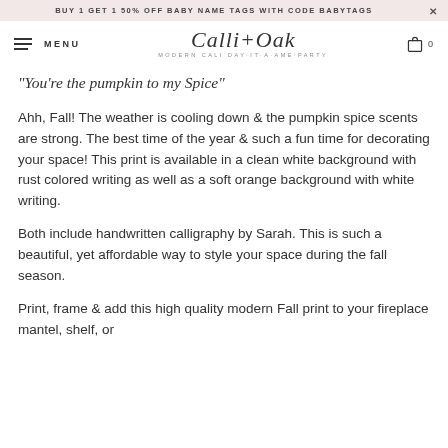BUY 1 GET 1 50% OFF BABY NAME TAGS WITH CODE BABYTAGS
MENU | Calli+Oak | MODERN CALI DAY-IA-RAME-PARTY | 0
"You're the pumpkin to my Spice"
Ahh, Fall! The weather is cooling down & the pumpkin spice scents are strong. The best time of the year & such a fun time for decorating your space! This print is available in a clean white background with rust colored writing as well as a soft orange background with white writing.
Both include handwritten calligraphy by Sarah. This is such a beautiful, yet affordable way to style your space during the fall season.
Print, frame & add this high quality modern Fall print to your fireplace mantel, shelf, or